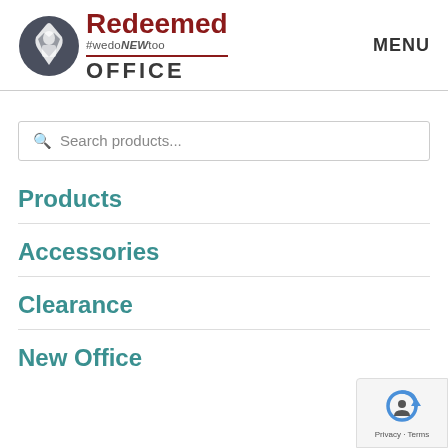[Figure (logo): Redeemed Office logo with shield/person icon, red Redeemed text, #wedoNEWtoo tagline, and OFFICE in dark bold letters]
MENU
Search products...
Products
Accessories
Clearance
New Office